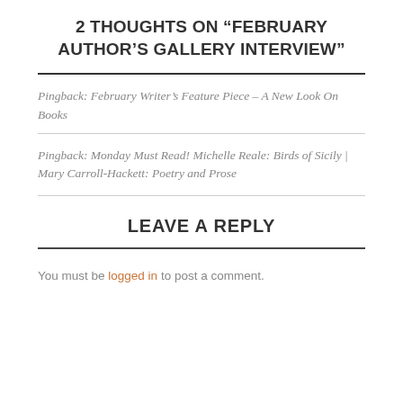2 THOUGHTS ON “FEBRUARY AUTHOR’S GALLERY INTERVIEW”
Pingback: February Writer’s Feature Piece – A New Look On Books
Pingback: Monday Must Read! Michelle Reale: Birds of Sicily | Mary Carroll-Hackett: Poetry and Prose
LEAVE A REPLY
You must be logged in to post a comment.